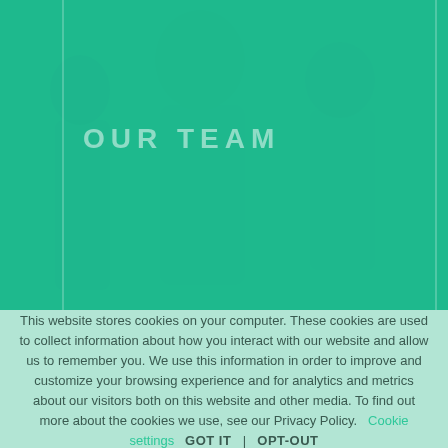[Figure (photo): Medical team photo with green teal overlay. Two vertical lines divide the image. Text 'OUR TEAM' overlaid in semi-transparent white uppercase letters.]
OUR TEAM
This website stores cookies on your computer. These cookies are used to collect information about how you interact with our website and allow us to remember you. We use this information in order to improve and customize your browsing experience and for analytics and metrics about our visitors both on this website and other media. To find out more about the cookies we use, see our Privacy Policy.    Cookie settings    GOT IT    |    OPT-OUT